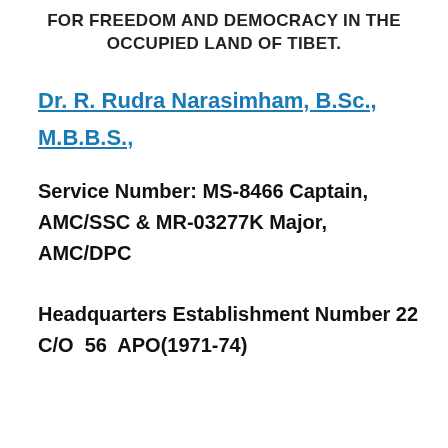FOR FREEDOM AND DEMOCRACY IN THE OCCUPIED LAND OF TIBET.
Dr. R. Rudra Narasimham, B.Sc., M.B.B.S.,
Service Number: MS-8466 Captain, AMC/SSC & MR-03277K Major, AMC/DPC
Headquarters Establishment Number 22 C/O  56  APO(1971-74)